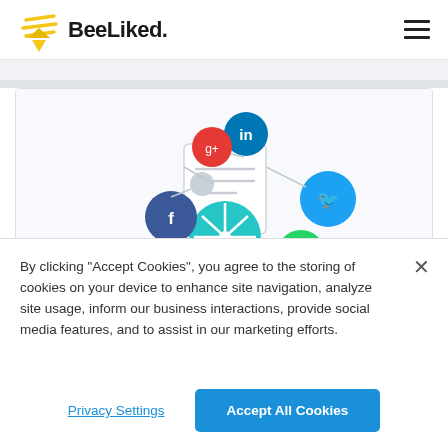[Figure (logo): BeeLiked logo with yellow stylized bee icon and bold text 'BeeLiked.' in dark gray]
[Figure (infographic): Social media sharing graphic showing colored circles with social network icons (LinkedIn, Twitter, WhatsApp, Facebook, Pinterest, Google+) connected to a central teal pinwheel/spinner icon]
By clicking "Accept Cookies", you agree to the storing of cookies on your device to enhance site navigation, analyze site usage, inform our business interactions, provide social media features, and to assist in our marketing efforts.
Privacy Settings
Accept All Cookies